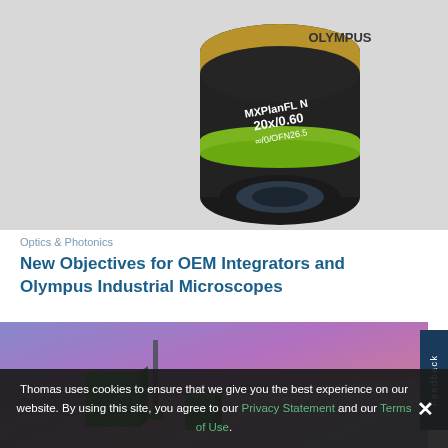[Figure (photo): Close-up photo of an Olympus MXPlanFL N 20x/0.60 microscope objective lens with a green band]
Optics & Photonics
New Objectives for OEM Integrators and Olympus Industrial Microscopes
[Figure (photo): Photo of green optical prism/crystal components on a reflective iridescent surface]
Thomas uses cookies to ensure that we give you the best experience on our website. By using this site, you agree to our Privacy Statement and our Terms of Use.